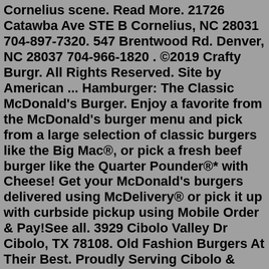Cornelius scene. Read More. 21726 Catawba Ave STE B Cornelius, NC 28031 704-897-7320. 547 Brentwood Rd. Denver, NC 28037 704-966-1820 . ©2019 Crafty Burgr. All Rights Reserved. Site by American ... Hamburger: The Classic McDonald's Burger. Enjoy a favorite from the McDonald's burger menu and pick from a large selection of classic burgers like the Big Mac®, or pick a fresh beef burger like the Quarter Pounder®* with Cheese! Get your McDonald's burgers delivered using McDelivery® or pick it up with curbside pickup using Mobile Order & Pay!See all. 3929 Cibolo Valley Dr Cibolo, TX 78108. Old Fashion Burgers At Their Best. Proudly Serving Cibolo & Schertz, TX. 7,969 people like this. 8,241 people follow this. 2,981 people checked in here. (210) 566-4457.Menu. 17015 Kenton Drive. Cornelius, NC, 28031. 704-997-5388. Hand Crafted Burgers & Beer. Your Custom Text Here. Home; About; News; Eat; Drink; Enjoy; 17015 KENTON DR. CORNELIUS, NC 28031 704-997-5388 . 21726 Catawba Ave STE B Cornelius, NC 28031